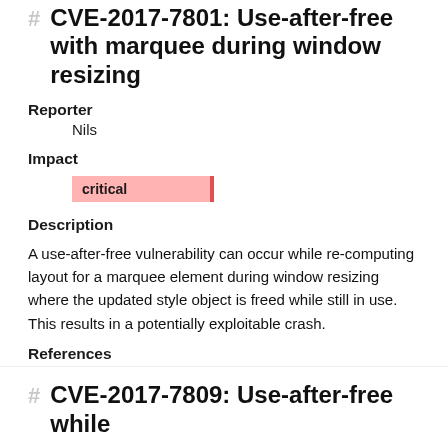CVE-2017-7801: Use-after-free with marquee during window resizing
Reporter
Nils
Impact
critical
Description
A use-after-free vulnerability can occur while re-computing layout for a marquee element during window resizing where the updated style object is freed while still in use. This results in a potentially exploitable crash.
References
Bug 1371259
CVE-2017-7809: Use-after-free while